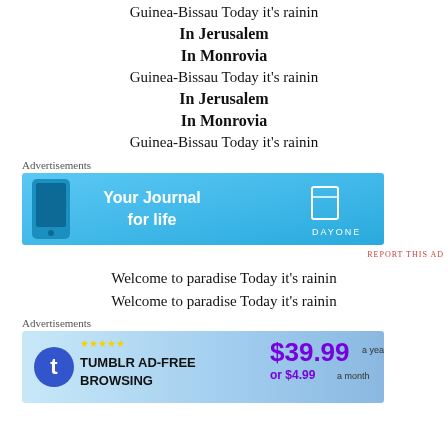Guinea-Bissau Today it's rainin
In Jerusalem
In Monrovia
Guinea-Bissau Today it's rainin
In Jerusalem
In Monrovia
Guinea-Bissau Today it's rainin
Advertisements
[Figure (infographic): DayOne app advertisement banner: 'Your Journal for life' with a phone image and DayOne logo on a blue background]
REPORT THIS AD
Welcome to paradise Today it's rainin
Welcome to paradise Today it's rainin
Advertisements
[Figure (infographic): Tumblr Ad-Free Browsing advertisement: $39.99 a year or $4.99 a month, with Tumblr logo on blue gradient background]